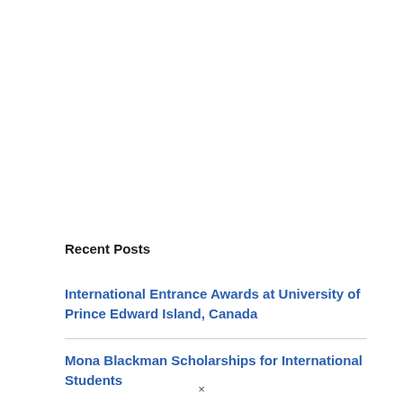Recent Posts
International Entrance Awards at University of Prince Edward Island, Canada
Mona Blackman Scholarships for International Students
×